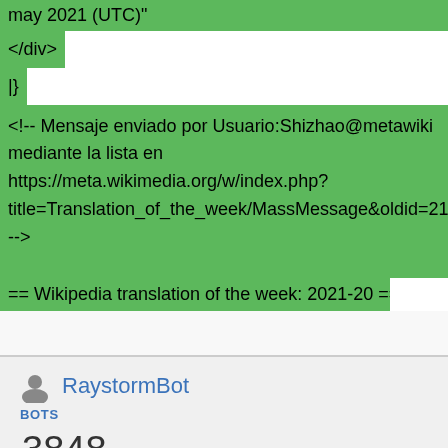may 2021 (UTC)"
</div>
|}
<!-- Mensaje enviado por Usuario:Shizhao@metawiki mediante la lista en https://meta.wikimedia.org/w/index.php?title=Translation_of_the_week/MassMessage&oldid=21420930 -->
== Wikipedia translation of the week: 2021-20 ==
RaystormBot
BOTS
3848
EDICIONES